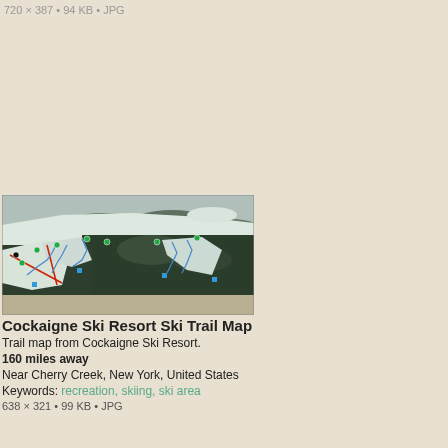720 × 387 • 94 KB • JPG
[Figure (map): Aerial ski trail map of Cockaigne Ski Resort showing ski runs marked with colored dots and lines over a forested snowy hillside]
Cockaigne Ski Resort Ski Trail Map
Trail map from Cockaigne Ski Resort.
160 miles away
Near Cherry Creek, New York, United States
Keywords: recreation, skiing, ski area
638 × 321 • 99 KB • JPG